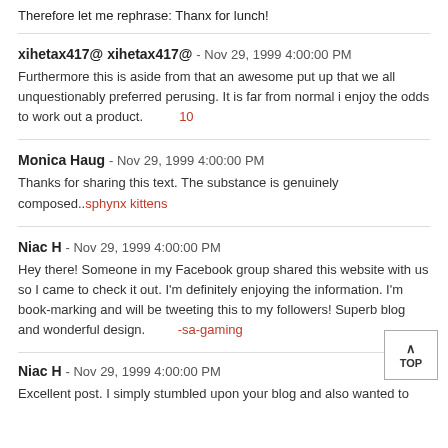Therefore let me rephrase: Thanx for lunch! [red link text]
xihetax417@ xihetax417@ - Nov 29, 1999 4:00:00 PM
Furthermore this is aside from that an awesome put up that we all unquestionably preferred perusing. It is far from normal i enjoy the odds to work out a product. [red link]
Monica Haug - Nov 29, 1999 4:00:00 PM
Thanks for sharing this text. The substance is genuinely composed..sphynx kittens
Niac H - Nov 29, 1999 4:00:00 PM
Hey there! Someone in my Facebook group shared this website with us so I came to check it out. I'm definitely enjoying the information. I'm book-marking and will be tweeting this to my followers! Superb blog and wonderful design. [red link]-sa-gaming
Niac H - Nov 29, 1999 4:00:00 PM
Excellent post. I simply stumbled upon your blog and also wanted to